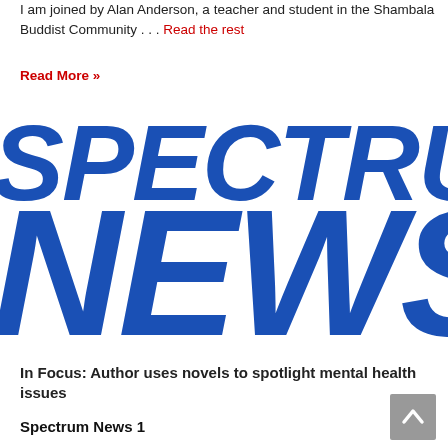I am joined by Alan Anderson, a teacher and student in the Shambala Buddist Community . . . Read the rest
Read More »
[Figure (logo): Spectrum News logo — large bold italic blue text reading 'SPECTRUM NEWS' cropped so right side is cut off]
In Focus: Author uses novels to spotlight mental health issues
Spectrum News 1